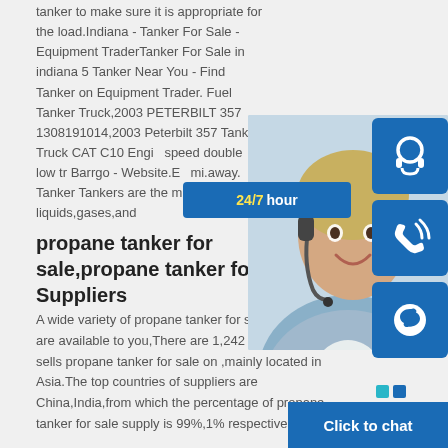tanker to make sure it is appropriate for the load.Indiana - Tanker For Sale - Equipment TraderTanker For Sale in indiana 5 Tanker Near You - Find Tanker on Equipment Trader. Fuel Tanker Truck,2003 PETERBILT 357 1308191014,2003 Peterbilt 357 Tank Truck CAT C10 Engin speed double low tr Barrgo - Website.Ev mi.away. Tanker Tankers are the most ef liquids,gases,and
propane tanker for sale,propane tanker for sale Suppliers
A wide variety of propane tanker for sale options are available to you,There are 1,242 suppliers who sells propane tanker for sale on ,mainly located in Asia.The top countries of suppliers are China,India,from which the percentage of propane tanker for sale supply is 99%,1% respectively.
[Figure (infographic): Customer service chat widget with 24/7 hour label, agent photo, headset icon button, phone icon button, Skype icon button, and Click to chat button at bottom]